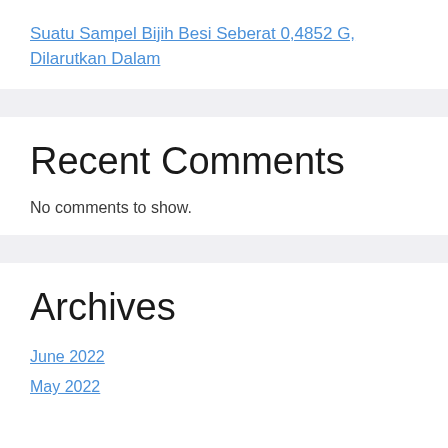Suatu Sampel Bijih Besi Seberat 0,4852 G, Dilarutkan Dalam
Recent Comments
No comments to show.
Archives
June 2022
May 2022